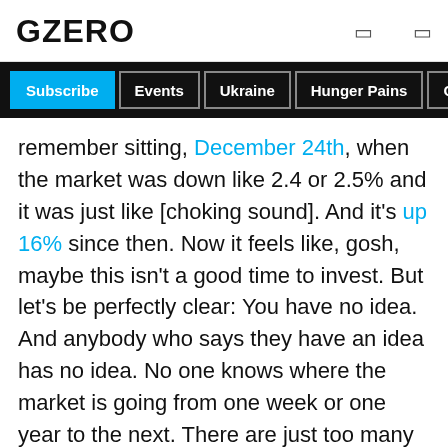GZERO
Subscribe | Events | Ukraine | Hunger Pains | GZERO Wor
remember sitting, December 24th, when the market was down like 2.4 or 2.5% and it was just like [choking sound]. And it's up 16% since then. Now it feels like, gosh, maybe this isn't a good time to invest. But let's be perfectly clear: You have no idea. And anybody who says they have an idea has no idea. No one knows where the market is going from one week or one year to the next. There are just too many factors into it. So you want to — for those of you who are familiar with the term — dollar-cost average. For those of you who aren't, you want to invest through up markets and down, a bit out of every paycheck, sometimes it'll be lower, sometimes it'll be higher, and then it evens out over time which doesn't feel